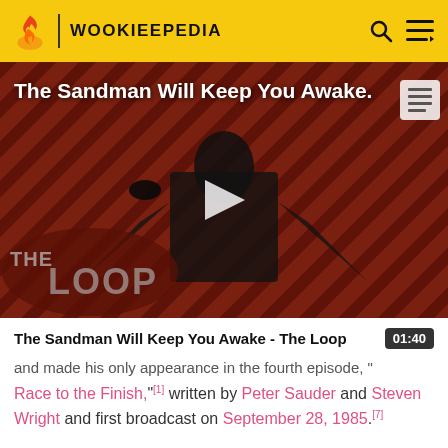WOOKIEEPEDIA
[Figure (screenshot): Video thumbnail for 'The Sandman Will Keep You Awake - The Loop' showing a dark-cloaked figure against a red diagonal-striped background with 'THE LOOP' text overlay and a play button in the center.]
The Sandman Will Keep You Awake - The Loop 01:40
and made his only appearance in the fourth episode, "A Race to the Finish,"[1] written by Peter Sauder and Steven Wright and first broadcast on September 28, 1985.[7]